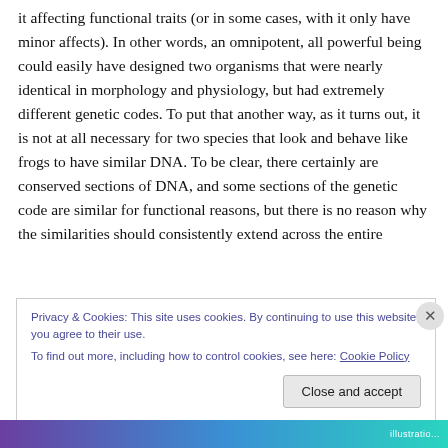it affecting functional traits (or in some cases, with it only have minor affects). In other words, an omnipotent, all powerful being could easily have designed two organisms that were nearly identical in morphology and physiology, but had extremely different genetic codes. To put that another way, as it turns out, it is not at all necessary for two species that look and behave like frogs to have similar DNA. To be clear, there certainly are conserved sections of DNA, and some sections of the genetic code are similar for functional reasons, but there is no reason why the similarities should consistently extend across the entire
Privacy & Cookies: This site uses cookies. By continuing to use this website, you agree to their use.
To find out more, including how to control cookies, see here: Cookie Policy